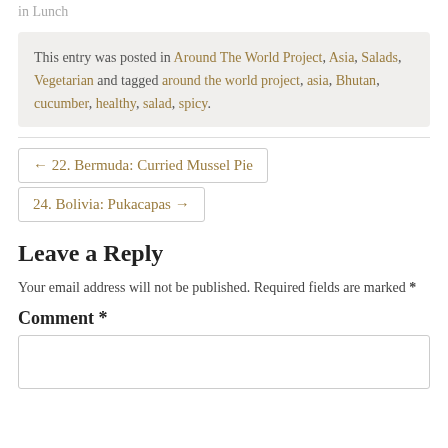in Lunch
This entry was posted in Around The World Project, Asia, Salads, Vegetarian and tagged around the world project, asia, Bhutan, cucumber, healthy, salad, spicy.
← 22. Bermuda: Curried Mussel Pie
24. Bolivia: Pukacapas →
Leave a Reply
Your email address will not be published. Required fields are marked *
Comment *